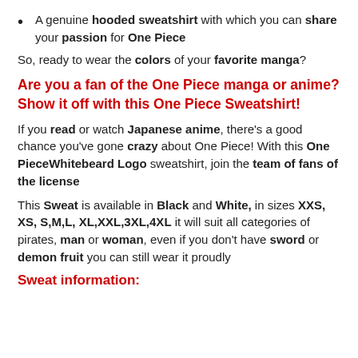A genuine hooded sweatshirt with which you can share your passion for One Piece
So, ready to wear the colors of your favorite manga?
Are you a fan of the One Piece manga or anime? Show it off with this One Piece Sweatshirt!
If you read or watch Japanese anime, there's a good chance you've gone crazy about One Piece! With this One PieceWhitebeard Logo sweatshirt, join the team of fans of the license
This Sweat is available in Black and White, in sizes XXS, XS, S,M,L, XL,XXL,3XL,4XL it will suit all categories of pirates, man or woman, even if you don't have sword or demon fruit you can still wear it proudly
Sweat information: